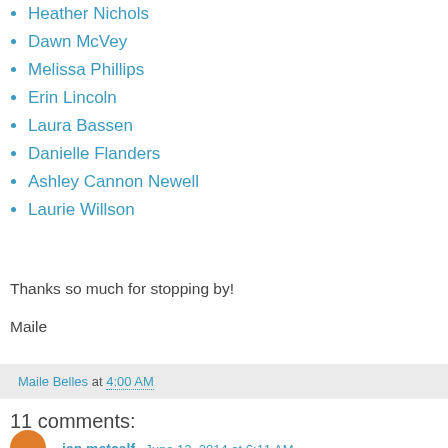Heather Nichols
Dawn McVey
Melissa Phillips
Erin Lincoln
Laura Bassen
Danielle Flanders
Ashley Cannon Newell
Laurie Willson
Thanks so much for stopping by!
Maile
Maile Belles at 4:00 AM
11 comments:
jan metcalf  June 12, 2014 at 6:11 AM